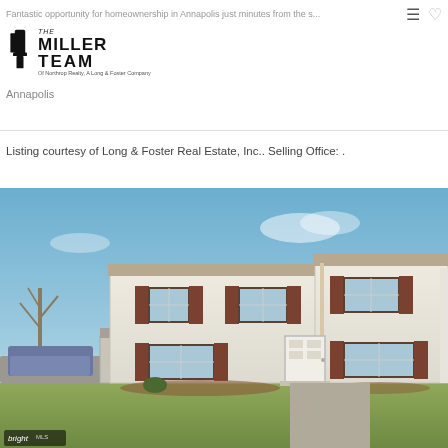Fantastic opportunity for homeownership in Annapolis just minutes from the s...
[Figure (logo): The Miller Team of Northrop Realty A Long & Foster Company logo]
Annapolis
Listing courtesy of Long & Foster Real Estate, Inc.. Selling Office: .
[Figure (photo): Exterior photo of a two-story white siding townhouse/single-family home with brown shutters, front door, windows, and a lawn in Annapolis. Bright MLS watermark in lower left.]